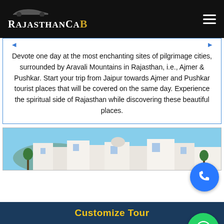RajasthanCaB
Devote one day at the most enchanting sites of pilgrimage cities, surrounded by Aravali Mountains in Rajasthan, i.e., Ajmer & Pushkar. Start your trip from Jaipur towards Ajmer and Pushkar tourist places that will be covered on the same day. Experience the spiritual side of Rajasthan while discovering these beautiful places.
[Figure (photo): White buildings of a Rajasthan pilgrimage city (likely Pushkar or Ajmer) against a blue sky]
Customize Tour